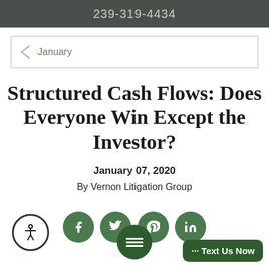239-319-4434
January
Structured Cash Flows: Does Everyone Win Except the Investor?
January 07, 2020
By Vernon Litigation Group
[Figure (infographic): Social media share icons (Facebook, Twitter, Pinterest, LinkedIn) as green circles, an accessibility icon, a chat/menu bubble icon, and a 'Text Us Now' button]